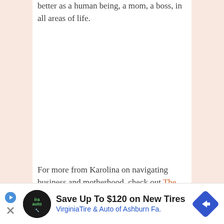better as a human being, a mom, a boss, in all areas of life.
For more from Karolina on navigating business and motherhood, check out The Working Mom's Guide to Connection and more f…
[Figure (screenshot): Advertisement banner: Save Up To $120 on New Tires – VirginiaTire & Auto of Ashburn Fa. with logo and directional arrow icon.]